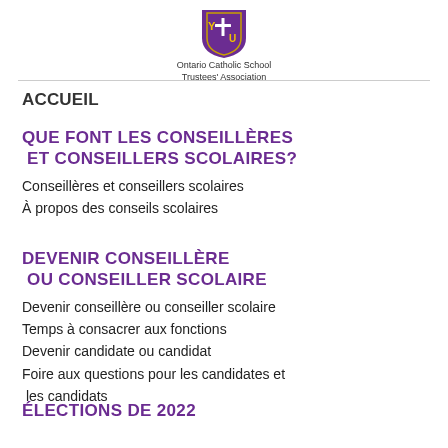[Figure (logo): Ontario Catholic School Trustees' Association logo — shield with cross and Y emblem in purple/gold, with organization name below]
ACCUEIL
QUE FONT LES CONSEILLÈRES ET CONSEILLERS SCOLAIRES?
Conseillères et conseillers scolaires
À propos des conseils scolaires
DEVENIR CONSEILLÈRE OU CONSEILLER SCOLAIRE
Devenir conseillère ou conseiller scolaire
Temps à consacrer aux fonctions
Devenir candidate ou candidat
Foire aux questions pour les candidates et les candidats
ÉLECTIONS DE 2022